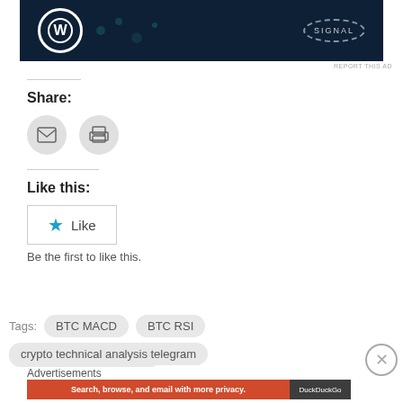[Figure (screenshot): Top portion of a dark navy advertisement banner showing WordPress logo and Signal badge]
REPORT THIS AD
Share:
[Figure (illustration): Email icon circle button]
[Figure (illustration): Print icon circle button]
Like this:
[Figure (screenshot): Like button with blue star and Like text]
Be the first to like this.
Tags:  BTC MACD  BTC RSI  Crypto technical analysis  crypto technical analysis telegram
Advertisements
[Figure (screenshot): DuckDuckGo advertisement banner: Search, browse, and email with more privacy. All in One Free App]
REPORT THIS AD